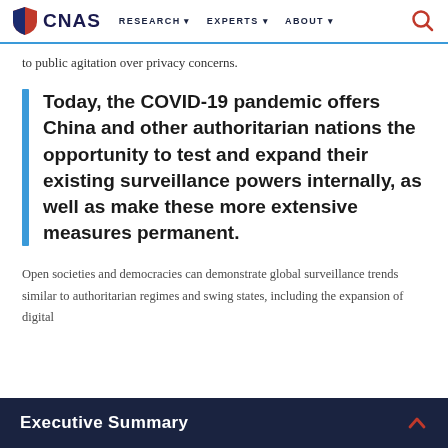CNAS | RESEARCH | EXPERTS | ABOUT
to public agitation over privacy concerns.
Today, the COVID-19 pandemic offers China and other authoritarian nations the opportunity to test and expand their existing surveillance powers internally, as well as make these more extensive measures permanent.
Open societies and democracies can demonstrate global surveillance trends similar to authoritarian regimes and swing states, including the expansion of digital
Executive Summary